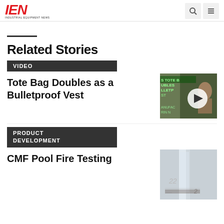IEN INDUSTRIAL EQUIPMENT NEWS
[Figure (photo): Partial dark photo visible at top right]
Related Stories
VIDEO
Tote Bag Doubles as a Bulletproof Vest
[Figure (screenshot): Video thumbnail showing tote bag bulletproof vest content with play button]
PRODUCT DEVELOPMENT
CMF Pool Fire Testing
[Figure (photo): Photo of fire testing material with markings]